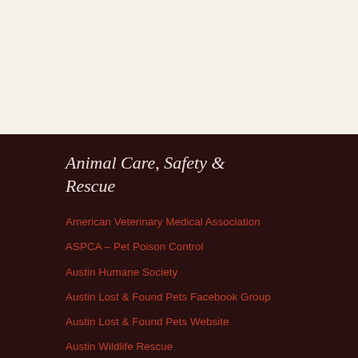Animal Care, Safety & Rescue
American Veterinary Medical Association
ASPCA – Pet Poison Control
Austin Humane Society
Austin Lost & Found Pets Facebook Group
Austin Lost & Found Pets Website
Austin Wildlife Rescue
Austin/Travis County Animal